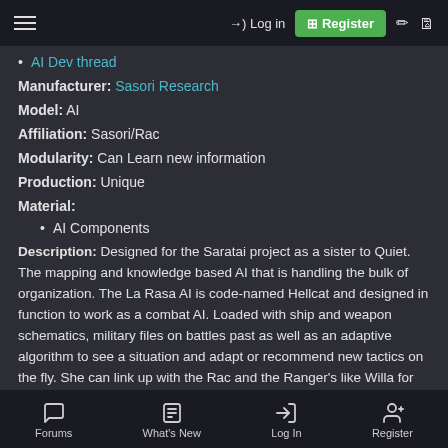Log in | Register
AI Dev thread
Manufacturer: Sasori Research
Model: AI
Affiliation: Sasori/Rac
Modularity: Can Learn new information
Production: Unique
Material:
AI Components
Description: Designed for the Saratai project as a sister to Quiet. The mapping and knowledge based AI that is handling the bulk of organization. The La Rasa AI is code-named Hellcat and designed in function to work as a combat AI. Loaded with ship and weapon schematics, military files on battles past as well as an adaptive algorithm to see a situation and adapt or recommend new tactics on the fly. She can link up with the Rac and the Ranger's like Willa for their armor and weapons to calibrate. Her ability to learn is nearly unlimited in a combat sense as tactics can evolve all the time and
Forums | What's New | Log In | Register